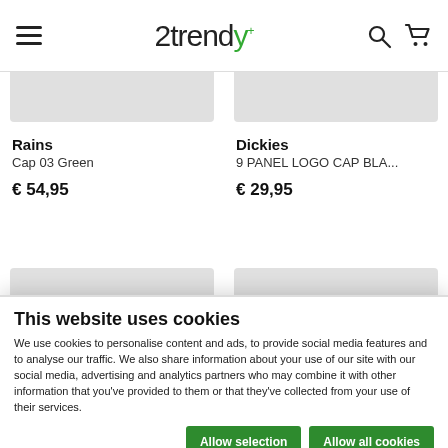2trendy
Rains
Cap 03 Green
€ 54,95
Dickies
9 PANEL LOGO CAP BLA...
€ 29,95
This website uses cookies
We use cookies to personalise content and ads, to provide social media features and to analyse our traffic. We also share information about your use of our site with our social media, advertising and analytics partners who may combine it with other information that you've provided to them or that they've collected from your use of their services.
Allow selection | Allow all cookies
Necessary  Preferences  Statistics  Marketing  Show details